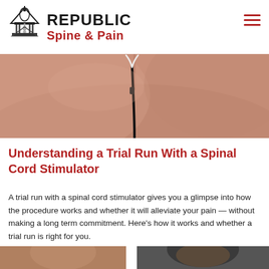[Figure (logo): Republic Spine & Pain logo with capitol building / spine icon]
[Figure (photo): Close-up of a person's bare back with a spinal cord stimulator wire/lead inserted along the spine]
Understanding a Trial Run With a Spinal Cord Stimulator
A trial run with a spinal cord stimulator gives you a glimpse into how the procedure works and whether it will alleviate your pain — without making a long term commitment. Here's how it works and whether a trial run is right for you.
[Figure (photo): Partial bottom strip showing two photos — a person on left side and a person's head on right side (cut off at bottom of page)]